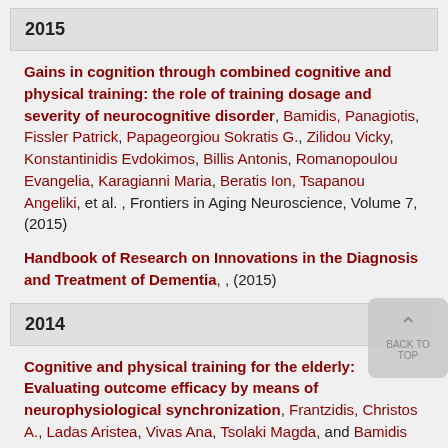2015
Gains in cognition through combined cognitive and physical training: the role of training dosage and severity of neurocognitive disorder, Bamidis, Panagiotis, Fissler Patrick, Papageorgiou Sokratis G., Zilidou Vicky, Konstantinidis Evdokimos, Billis Antonis, Romanopoulou Evangelia, Karagianni Maria, Beratis Ion, Tsapanou Angeliki, et al. , Frontiers in Aging Neuroscience, Volume 7, (2015)
Handbook of Research on Innovations in the Diagnosis and Treatment of Dementia, , (2015)
2014
Cognitive and physical training for the elderly: Evaluating outcome efficacy by means of neurophysiological synchronization, Frantzidis, Christos A., Ladas Aristea, Vivas Ana, Tsolaki Magda, and Bamidis Panagiotis , International Journal of Psychophysiology, Jan-07-2014, Volume 93, Issue 1, p.1 - 11